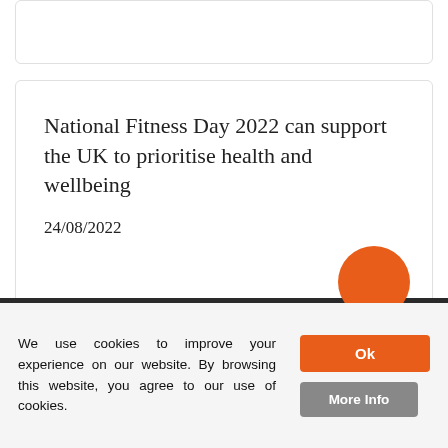National Fitness Day 2022 can support the UK to prioritise health and wellbeing
24/08/2022
We use cookies to improve your experience on our website. By browsing this website, you agree to our use of cookies.